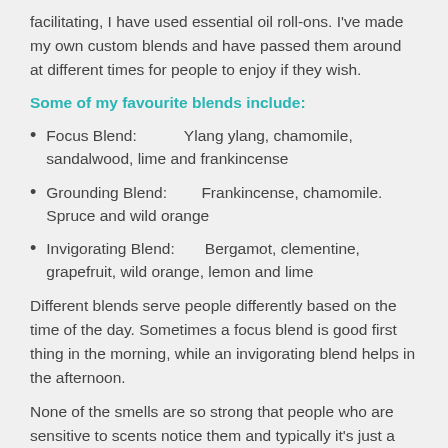facilitating, I have used essential oil roll-ons. I've made my own custom blends and have passed them around at different times for people to enjoy if they wish.
Some of my favourite blends include:
Focus Blend:         Ylang ylang, chamomile, sandalwood, lime and frankincense
Grounding Blend:         Frankincense, chamomile. Spruce and wild orange
Invigorating Blend:         Bergamot, clementine, grapefruit, wild orange, lemon and lime
Different blends serve people differently based on the time of the day. Sometimes a focus blend is good first thing in the morning, while an invigorating blend helps in the afternoon.
None of the smells are so strong that people who are sensitive to scents notice them and typically it's just a little